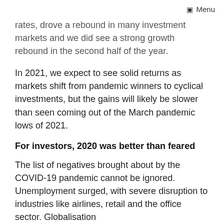☰ Menu
rates, drove a rebound in many investment markets and we did see a strong growth rebound in the second half of the year.
In 2021, we expect to see solid returns as markets shift from pandemic winners to cyclical investments, but the gains will likely be slower than seen coming out of the March pandemic lows of 2021.
For investors, 2020 was better than feared
The list of negatives brought about by the COVID-19 pandemic cannot be ignored. Unemployment surged, with severe disruption to industries like airlines, retail and the office sector. Globalisation